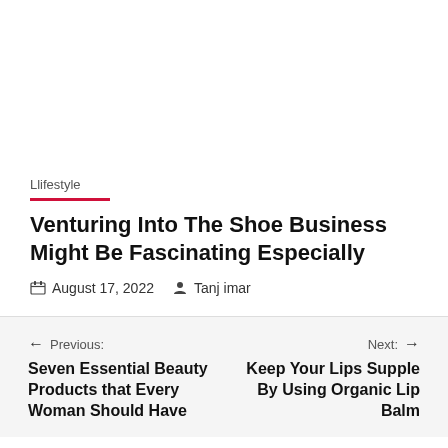Llifestyle
Venturing Into The Shoe Business Might Be Fascinating Especially
August 17, 2022   Tanj imar
← Previous: Seven Essential Beauty Products that Every Woman Should Have
Next: → Keep Your Lips Supple By Using Organic Lip Balm